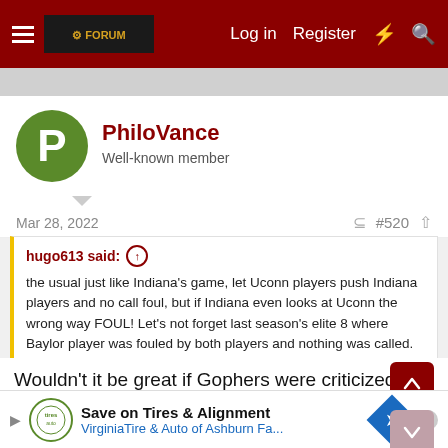Log in  Register
PhiloVance
Well-known member
Mar 28, 2022  #520
hugo613 said: ↑
the usual just like Indiana's game, let Uconn players push Indiana players and no call foul, but if Indiana even looks at Uconn the wrong way FOUL! Let's not forget last season's elite 8 where Baylor player was fouled by both players and nothing was called.
Wouldn't it be great if Gophers were criticized the same way UConn is...it would mean we were winners.
Chico Gopher
Save on Tires & Alignment
VirginiaTire & Auto of Ashburn Fa...